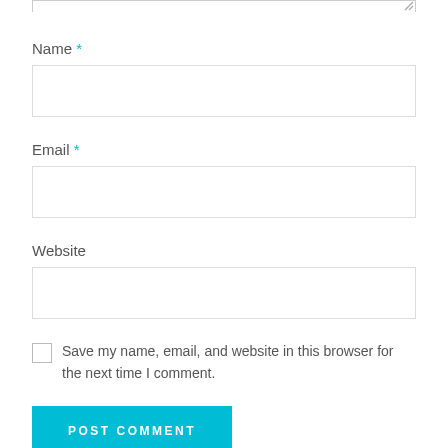[Figure (screenshot): Top portion of a textarea input field with a resize handle at the bottom right corner]
Name *
[Figure (screenshot): Empty text input field for Name]
Email *
[Figure (screenshot): Empty text input field for Email]
Website
[Figure (screenshot): Empty text input field for Website]
Save my name, email, and website in this browser for the next time I comment.
POST COMMENT